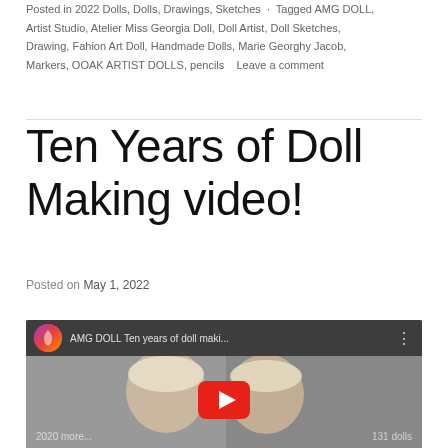Posted in 2022 Dolls, Dolls, Drawings, Sketches · Tagged AMG DOLL, Artist Studio, Atelier Miss Georgia Doll, Doll Artist, Doll Sketches, Drawing, Fahion Art Doll, Handmade Dolls, Marie Georghy Jacob, Markers, OOAK ARTIST DOLLS, pencils · Leave a comment
Ten Years of Doll Making video!
Posted on May 1, 2022
[Figure (screenshot): YouTube video thumbnail showing AMG DOLL Ten years of doll maki... with a doll image and red play button. Text overlay: 2020 more... 131 dolls]